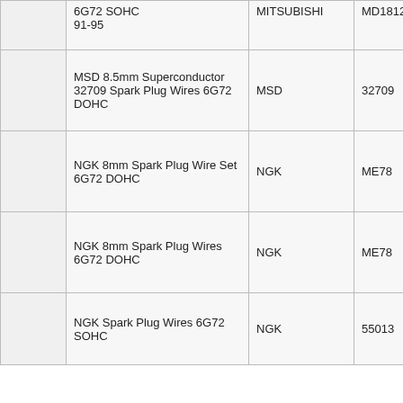|  | Product | Brand | Part Number |
| --- | --- | --- | --- |
|  | 6G72 SOHC 91-95 | MITSUBISHI | MD181291 |
|  | MSD 8.5mm Superconductor 32709 Spark Plug Wires 6G72 DOHC | MSD | 32709 |
|  | NGK 8mm Spark Plug Wire Set 6G72 DOHC | NGK | ME78 |
|  | NGK 8mm Spark Plug Wires 6G72 DOHC | NGK | ME78 |
|  | NGK Spark Plug Wires 6G72 SOHC | NGK | 55013 |